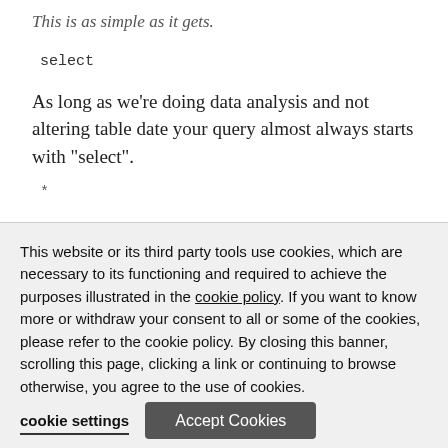This is as simple as it gets.
select
As long as we’re doing data analysis and not altering table date your query almost always starts with “select”.
*
The added asterisk basically just says “everything” – so we’ve just expanded our “select
This website or its third party tools use cookies, which are necessary to its functioning and required to achieve the purposes illustrated in the cookie policy. If you want to know more or withdraw your consent to all or some of the cookies, please refer to the cookie policy. By closing this banner, scrolling this page, clicking a link or continuing to browse otherwise, you agree to the use of cookies.
cookie settings
Accept Cookies